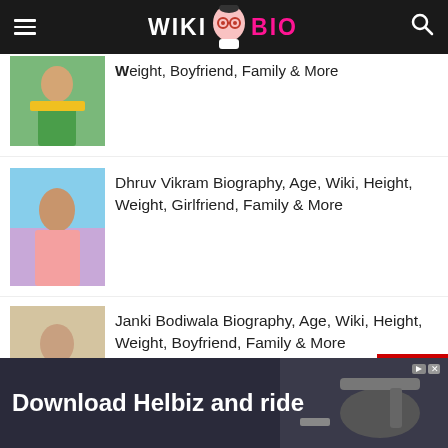WIKI BIO (navigation header)
Weight, Boyfriend, Family & More
Dhruv Vikram Biography, Age, Wiki, Height, Weight, Girlfriend, Family & More
Janki Bodiwala Biography, Age, Wiki, Height, Weight, Boyfriend, Family & More
Download Helbiz and ride